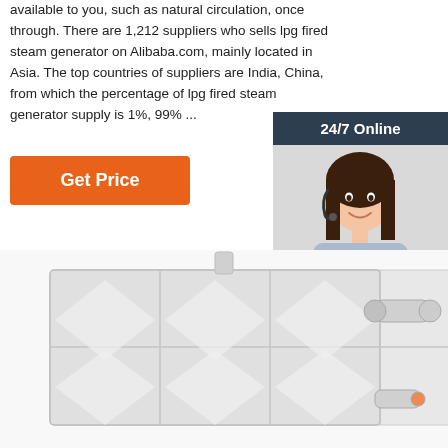available to you, such as natural circulation, once through. There are 1,212 suppliers who sells lpg fired steam generator on Alibaba.com, mainly located in Asia. The top countries of suppliers are India, China, from which the percentage of lpg fired steam generator supply is 1%, 99% ...
Get Price
24/7 Online
[Figure (photo): Customer service representative woman wearing headset, smiling]
Click here for free chat !
QUOTATION
[Figure (photo): Industrial steam generator or boiler equipment, large white metallic rectangular unit with pipes and fittings]